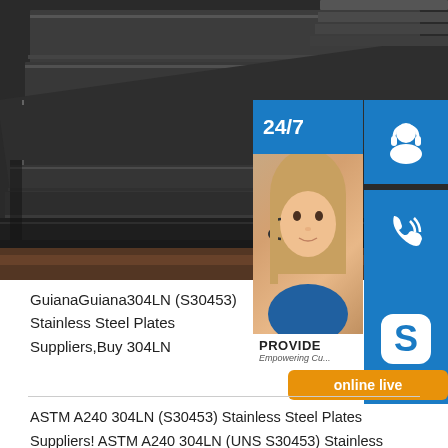[Figure (photo): Stack of dark steel/metal plates piled on top of each other, viewed from the side at an angle, showing layered edges. Background includes additional steel sheets.]
[Figure (infographic): Blue sidebar overlay showing 24/7 customer service icons: headset icon, phone icon, Skype icon, with a woman wearing a headset. Also includes PROVIDE branding, 'Empowering Customers' text, and an orange 'online live' button.]
GuianaGuiana304LN (S30453) Stainless Steel Plates Suppliers,Buy 304LN
ASTM A240 304LN (S30453) Stainless Steel Plates Suppliers! ASTM A240 304LN (UNS S30453) Stainless Steel Plate Available for Sale Hot Rolled,Annealed Pickled No. 1 Finish in Size Range of 3mm to 100mm; If you are looki